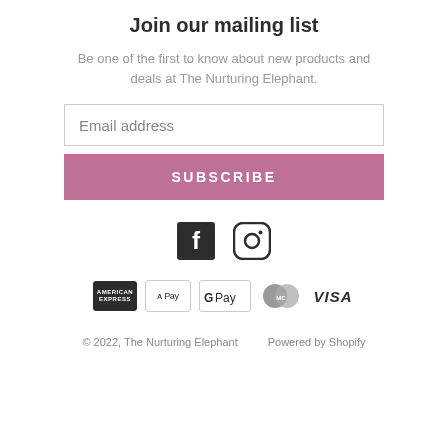Join our mailing list
Be one of the first to know about new products and deals at The Nurturing Elephant.
[Figure (other): Email address input field with border]
[Figure (other): Subscribe button in pink/mauve color with white uppercase text SUBSCRIBE]
[Figure (other): Social media icons: Facebook and Instagram]
[Figure (other): Payment method icons: American Express, Apple Pay, Google Pay, Mastercard, Visa]
© 2022, The Nurturing Elephant    Powered by Shopify